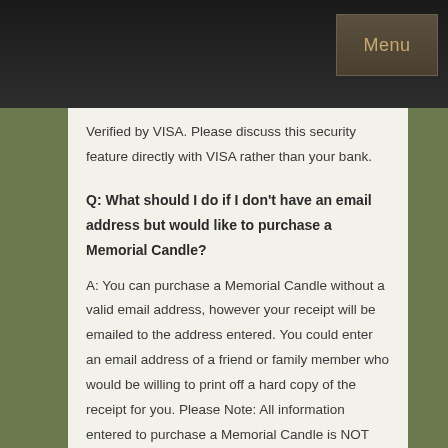Menu
Verified by VISA. Please discuss this security feature directly with VISA rather than your bank.
Q: What should I do if I don't have an email address but would like to purchase a Memorial Candle?
A: You can purchase a Memorial Candle without a valid email address, however your receipt will be emailed to the address entered. You could enter an email address of a friend or family member who would be willing to print off a hard copy of the receipt for you. Please Note: All information entered to purchase a Memorial Candle is NOT distributed or used to send mass online solicitations. At FrontRunner